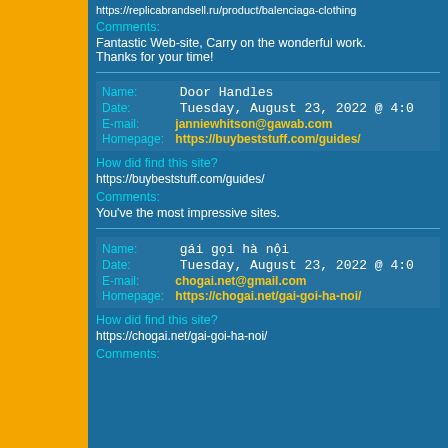https://replicabrandsell.ru/product/balenciaga-clothing
Comments: Fantastic Web-site, Carry on the wonderful work. Thanks for your time!
Name: Door Handles
Date: Tuesday, August 23, 2022 @ 4:0
E-mail: janniewhitson@gawab.com
Homepage: https://buybeststuff.com/guides/
How did find this site? https://buybeststuff.com/guides/
Comments: You've the most impressive sites.
Name: gái gọi hà nội
Date: Tuesday, August 23, 2022 @ 4:0
E-mail: chogai.net@gmail.com
Homepage: https://chogai.net/gai-goi-ha-noi/
How did find this site? https://chogai.net/gai-goi-ha-noi/
Comments: